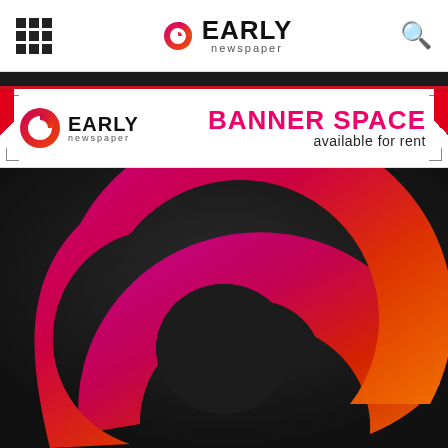Early Newspaper — navigation header with grid menu icon, Early Newspaper logo, and search icon
[Figure (logo): Early Newspaper banner ad: Early Newspaper logo on left, 'BANNER SPACE available for rent' text on right with pink/red color scheme]
[Figure (logo): Large Early Newspaper 'e' logo mark with pink-to-orange gradient on dark background, filling lower portion of page]